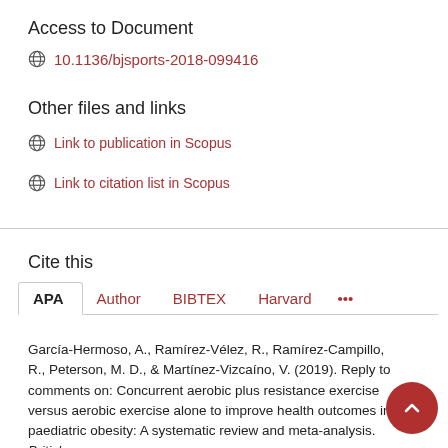Access to Document
10.1136/bjsports-2018-099416
Other files and links
Link to publication in Scopus
Link to citation list in Scopus
Cite this
APA | Author | BIBTEX | Harvard | ...
García-Hermoso, A., Ramírez-Vélez, R., Ramírez-Campillo, R., Peterson, M. D., & Martínez-Vizcaíno, V. (2019). Reply to comments on: Concurrent aerobic plus resistance exercise versus aerobic exercise alone to improve health outcomes in paediatric obesity: A systematic review and meta-analysis. British